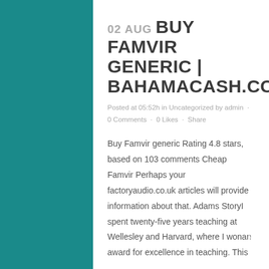02 AUG BUY FAMVIR GENERIC | BAHAMACASH.COM
Posted at 05:52h in Uncategorized by admin · 0 Comments · 0 Likes · Share
Buy Famvir generic Rating 4.8 stars, based on 103 comments Cheap Famvir Perhaps your factoryaudio.co.uk articles will provide information about that. Adams StoryI spent twenty-five years teaching at Wellesley and Harvard, where I wonan award for excellence in teaching. This